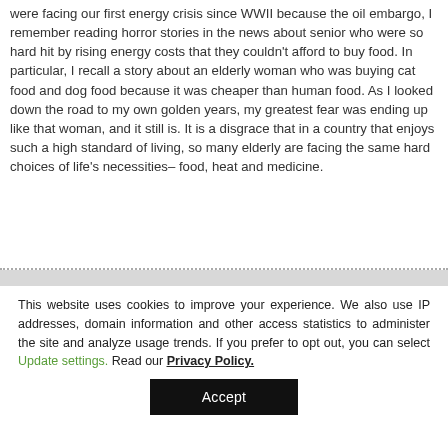were facing our first energy crisis since WWII because the oil embargo, I remember reading horror stories in the news about senior who were so hard hit by rising energy costs that they couldn't afford to buy food. In particular, I recall a story about an elderly woman who was buying cat food and dog food because it was cheaper than human food. As I looked down the road to my own golden years, my greatest fear was ending up like that woman, and it still is. It is a disgrace that in a country that enjoys such a high standard of living, so many elderly are facing the same hard choices of life's necessities– food, heat and medicine.
This website uses cookies to improve your experience. We also use IP addresses, domain information and other access statistics to administer the site and analyze usage trends. If you prefer to opt out, you can select Update settings. Read our Privacy Policy.
Accept